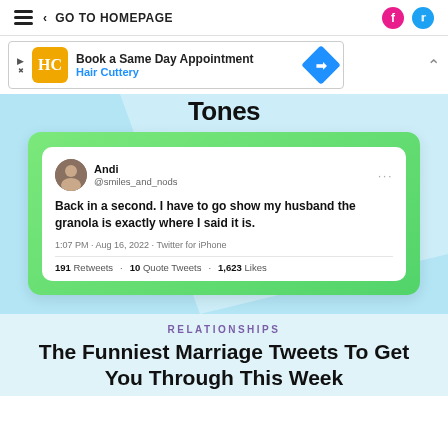≡  < GO TO HOMEPAGE
[Figure (screenshot): Advertisement banner for Hair Cuttery: 'Book a Same Day Appointment' with logo and diamond arrow icon]
Tones
[Figure (screenshot): Tweet from @smiles_and_nods (Andi): 'Back in a second. I have to go show my husband the granola is exactly where I said it is.' 1:07 PM · Aug 16, 2022 · Twitter for iPhone. 191 Retweets · 10 Quote Tweets · 1,623 Likes]
RELATIONSHIPS
The Funniest Marriage Tweets To Get You Through This Week